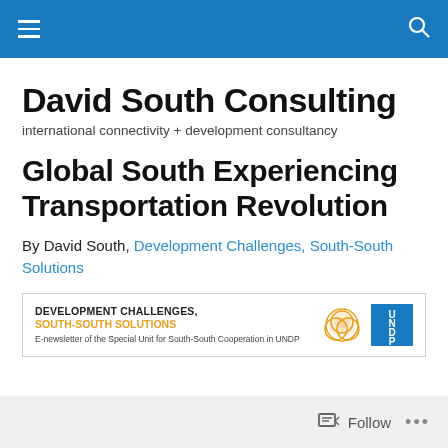David South Consulting [navigation bar]
David South Consulting
international connectivity + development consultancy
Global South Experiencing Transportation Revolution
By David South, Development Challenges, South-South Solutions
[Figure (logo): Development Challenges, South-South Solutions newsletter banner with UNDP logo. Text: DEVELOPMENT CHALLENGES, SOUTH-SOUTH SOLUTIONS. E-newsletter of the Special Unit for South-South Cooperation in UNDP]
Follow ...